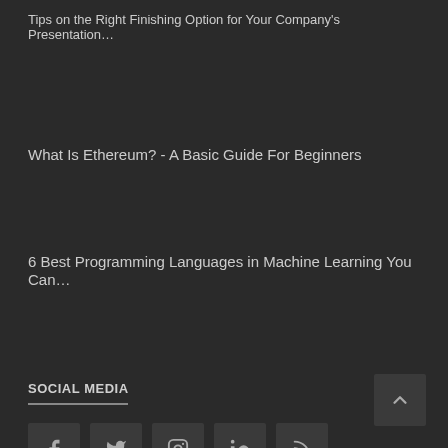Tips on the Right Finishing Option for Your Company's Presentation…
What Is Ethereum? - A Basic Guide For Beginners
6 Best Programming Languages in Machine Learning You Can…
SOCIAL MEDIA